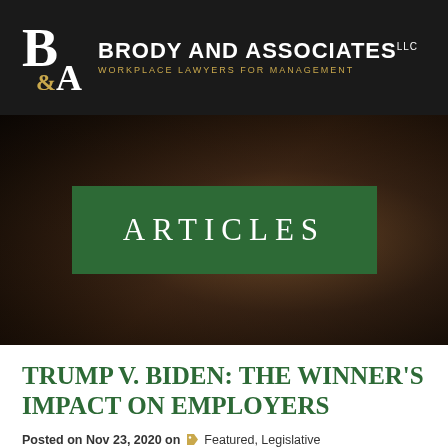Brody and Associates LLC — Workplace Lawyers for Management
[Figure (other): Hero banner with blurred dark brown background and a green rectangle with 'ARTICLES' text in white uppercase letters]
TRUMP V. BIDEN: THE WINNER'S IMPACT ON EMPLOYERS
Posted on Nov 23, 2020 on Featured, Legislative Updates, Published Articles by Robert G. Brody and Mark